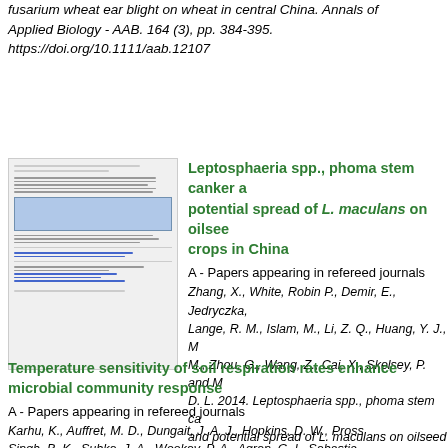fusarium wheat ear blight on wheat in central China. Annals of Applied Biology - AAB. 164 (3), pp. 384-395. https://doi.org/10.1111/aab.12107
[Figure (screenshot): Thumbnail preview of a journal article page]
Leptosphaeria spp., phoma stem canker and potential spread of L. maculans on oilseed crops in China
A - Papers appearing in refereed journals
Zhang, X., White, Robin P., Demir, E., Jedryczka, M., Lange, R. M., Islam, M., Li, Z. Q., Huang, Y. J., M., Zhou, G., Wang, Z., Cai, X., Skelsey, P. and D. L. 2014. Leptosphaeria spp., phoma stem canker and potential spread of L. maculans on oilseed crops in China. Plant Pathology. 63 (3), pp. 598- https://doi.org/10.1111/ppa.12146
Temperature sensitivity of soil respiration rates enhanced by microbial community response
A - Papers appearing in refereed journals
Karhu, K., Auffret, M. D., Dungait, J. A. J., Hopkins, D. W., Pross, Singh, B. K., Subke, J. A., Wookey, P. A., Agren, G. I., Sebastia,